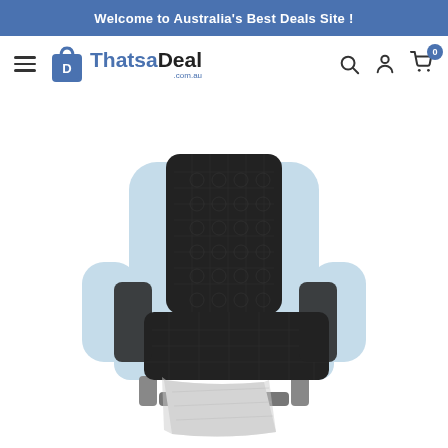Welcome to Australia's Best Deals Site !
[Figure (logo): ThatsaDeal.com.au logo with shopping bag icon]
[Figure (photo): A light blue armchair with a black quilted reversible sofa cover/protector placed over the back and seat, with the light grey reverse side visible on the front flap]